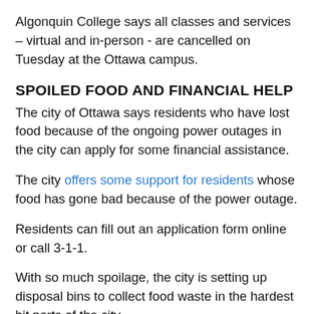Algonquin College says all classes and services – virtual and in-person - are cancelled on Tuesday at the Ottawa campus.
SPOILED FOOD AND FINANCIAL HELP
The city of Ottawa says residents who have lost food because of the ongoing power outages in the city can apply for some financial assistance.
The city offers some support for residents whose food has gone bad because of the power outage.
Residents can fill out an application form online or call 3-1-1.
With so much spoilage, the city is setting up disposal bins to collect food waste in the hardest hit parts of the city.
Bins will be in place Tuesday in four locations:
Navan Memorial Centre at 1295 Colonial Rd.